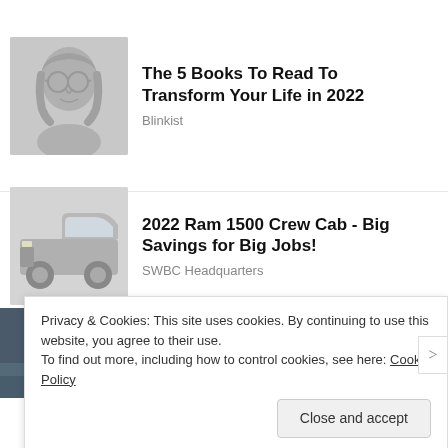[Figure (photo): Placeholder image of a person with glasses and long hair, greyscale]
The 5 Books To Read To Transform Your Life in 2022
Blinkist
[Figure (photo): Placeholder image of a 2022 Ram 1500 Crew Cab truck, greyscale]
2022 Ram 1500 Crew Cab - Big Savings for Big Jobs!
SWBC Headquarters
[Figure (photo): Photo of a phone/device on a surface, dark blue tones]
Privacy & Cookies: This site uses cookies. By continuing to use this website, you agree to their use.
To find out more, including how to control cookies, see here: Cookie Policy
Close and accept